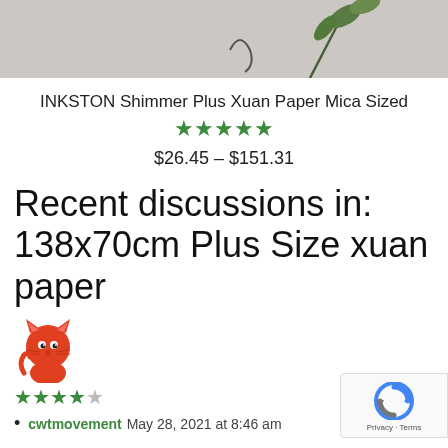[Figure (photo): Product image of INKSTON Shimmer Plus Xuan Paper with plant stems visible against grey background]
INKSTON Shimmer Plus Xuan Paper Mica Sized
[Figure (other): 5 green stars rating]
$26.45 – $151.31
Recent discussions in: 138x70cm Plus Size xuan paper
[Figure (illustration): Red cartoon cat avatar]
[Figure (other): 4 green stars out of 5 rating]
cwtmovement May 28, 2021 at 8:46 am